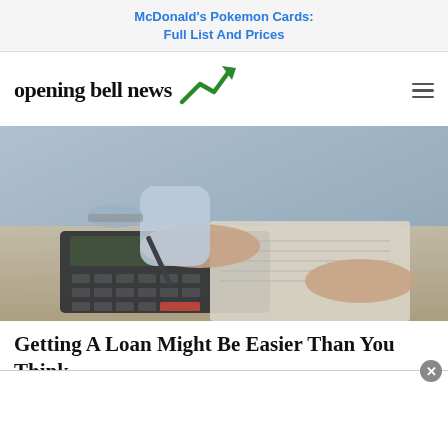McDonald's Pokemon Cards: Full List And Prices
[Figure (logo): Opening Bell News logo with bold serif text and green upward trending arrow icon, plus hamburger menu icon on the right]
[Figure (photo): Person in a business shirt using a calculator and holding a pen, with notebooks and financial papers on a desk]
Getting A Loan Might Be Easier Than You Think